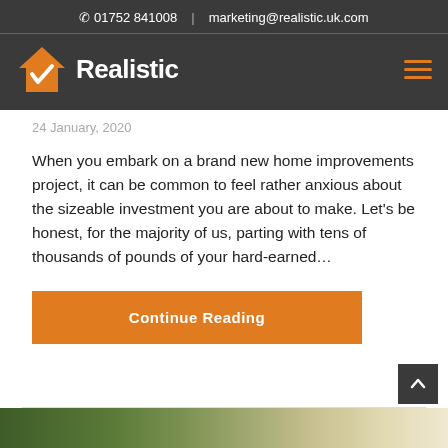01752 841008 | marketing@realistic.uk.com
[Figure (logo): Realistic logo with orange house icon and checkmark, white text 'Realistic' on dark grey background, hamburger menu icon on right]
24 January, 2020
When you embark on a brand new home improvements project, it can be common to feel rather anxious about the sizeable investment you are about to make. Let's be honest, for the majority of us, parting with tens of thousands of pounds of your hard-earned…
Continue Reading
[Figure (photo): Partial outdoor/garden photo visible at bottom of page]